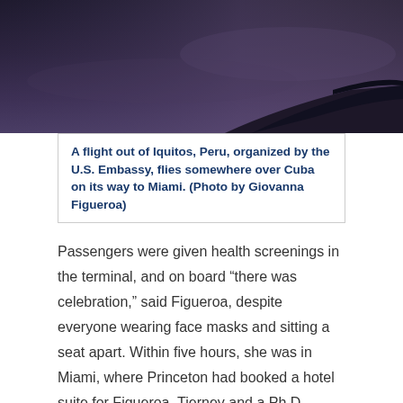[Figure (photo): Dark atmospheric photo of airplane wing visible through aircraft window, flying over clouds at dusk or dawn with purple-grey sky]
A flight out of Iquitos, Peru, organized by the U.S. Embassy, flies somewhere over Cuba on its way to Miami. (Photo by Giovanna Figueroa)
Passengers were given health screenings in the terminal, and on board “there was celebration,” said Figueroa, despite everyone wearing face masks and sitting a seat apart. Within five hours, she was in Miami, where Princeton had booked a hotel suite for Figueroa, Tierney and a Ph.D. student from Cornell University who’d also been in Peru.
Figueroa rented a car the next day and drove four hours